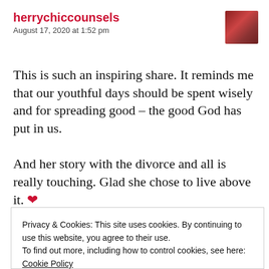herrychiccounsels
August 17, 2020 at 1:52 pm
This is such an inspiring share. It reminds me that our youthful days should be spent wisely and for spreading good – the good God has put in us.

And her story with the divorce and all is really touching. Glad she chose to live above it. ❤
Privacy & Cookies: This site uses cookies. By continuing to use this website, you agree to their use.
To find out more, including how to control cookies, see here: Cookie Policy
Close and accept
August 17, 2020 at 2:05 pm